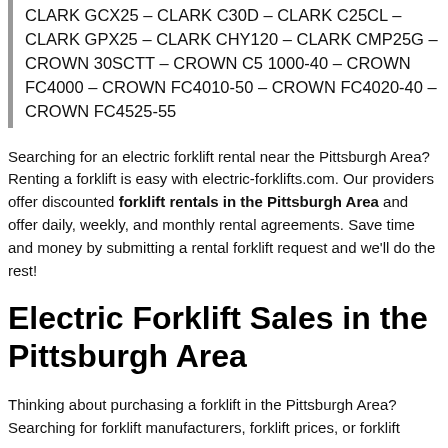CLARK GCX25 – CLARK C30D – CLARK C25CL – CLARK GPX25 – CLARK CHY120 – CLARK CMP25G – CROWN 30SCTT – CROWN C5 1000-40 – CROWN FC4000 – CROWN FC4010-50 – CROWN FC4020-40 – CROWN FC4525-55
Searching for an electric forklift rental near the Pittsburgh Area? Renting a forklift is easy with electric-forklifts.com. Our providers offer discounted forklift rentals in the Pittsburgh Area and offer daily, weekly, and monthly rental agreements. Save time and money by submitting a rental forklift request and we'll do the rest!
Electric Forklift Sales in the Pittsburgh Area
Thinking about purchasing a forklift in the Pittsburgh Area? Searching for forklift manufacturers, forklift prices, or forklift